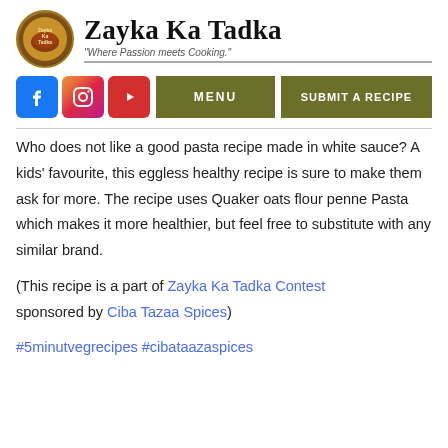Zayka Ka Tadka — "Where Passion meets Cooking."
Who does not like a good pasta recipe made in white sauce? A kids' favourite, this eggless healthy recipe is sure to make them ask for more. The recipe uses Quaker oats flour penne Pasta which makes it more healthier, but feel free to substitute with any similar brand.
(This recipe is a part of Zayka Ka Tadka Contest sponsored by Ciba Tazaa Spices)
#5minutvegrecipes #cibataazaspices